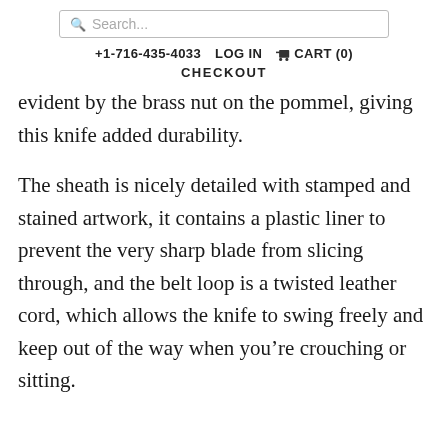Search...
+1-716-435-4033  LOG IN  CART (0)
CHECKOUT
evident by the brass nut on the pommel, giving this knife added durability.
The sheath is nicely detailed with stamped and stained artwork, it contains a plastic liner to prevent the very sharp blade from slicing through, and the belt loop is a twisted leather cord, which allows the knife to swing freely and keep out of the way when you’re crouching or sitting.